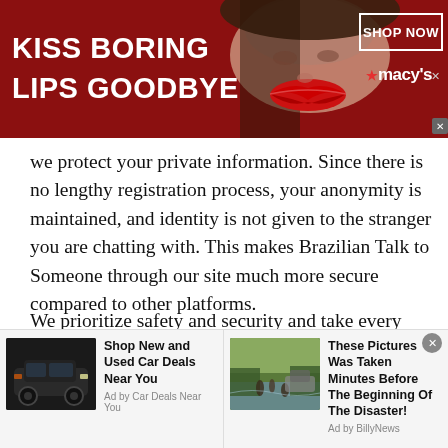[Figure (illustration): Macy's advertisement banner with red background showing a woman's face with red lips. Text reads 'KISS BORING LIPS GOODBYE' with 'SHOP NOW' button and Macy's star logo.]
we protect your private information. Since there is no lengthy registration process, your anonymity is maintained, and identity is not given to the stranger you are chatting with. This makes Brazilian Talk to Someone through our site much more secure compared to other platforms.
We prioritize safety and security and take every measure to secure our users from any invaders of hackers. We have blocked Ips and even countries where most cybercrimes have been reported to protect our users and their privat
[Figure (illustration): Advertisement for car deals: 'Shop New and Used Car Deals Near You' - Ad by Car Deals Near You. Shows image of a dark SUV.]
[Figure (illustration): Advertisement: 'These Pictures Was Taken Minutes Before The Beginning Of The Disaster!' - Ad by BillyNews. Shows image of people in floodwater with a car.]